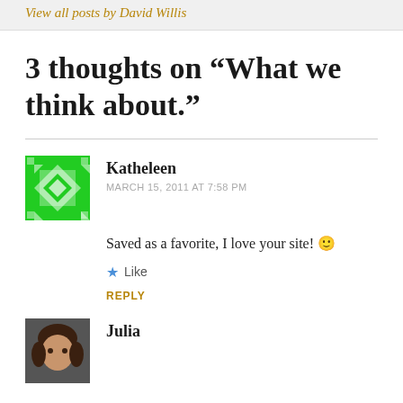View all posts by David Willis
3 thoughts on “What we think about.”
Katheleen
MARCH 15, 2011 AT 7:58 PM
Saved as a favorite, I love your site! 🙂
Like
REPLY
Julia